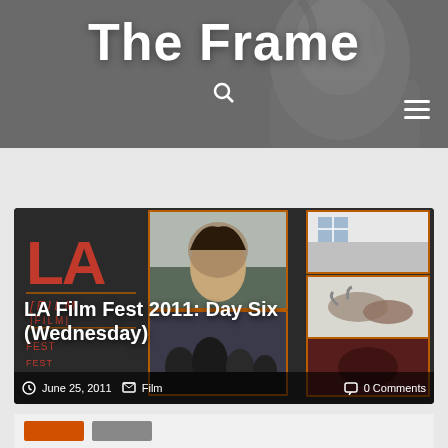The Frame
[Figure (screenshot): Website screenshot of 'The Frame' blog header with black-and-white photo of a woman, search icon, and hamburger menu]
LA Film Fest 2011: Day Six (Wednesday)
June 25, 2011   Film   0 Comments
[Figure (screenshot): Partial bottom card/article preview at the bottom of the page]